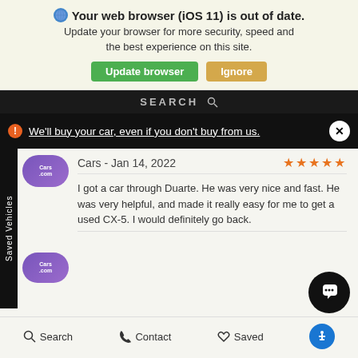Your web browser (iOS 11) is out of date. Update your browser for more security, speed and the best experience on this site.
Update browser | Ignore
SEARCH
We'll buy your car, even if you don't buy from us.
Saved Vehicles
Cars - Jan 14, 2022 ★★★★★
I got a car through Duarte. He was very nice and fast. He was very helpful, and made it really easy for me to get a used CX-5. I would definitely go back.
Cars - Jan 13, 2022 ★★★★★
Duarte was really transparent from the beginning.
Search  Contact  Saved